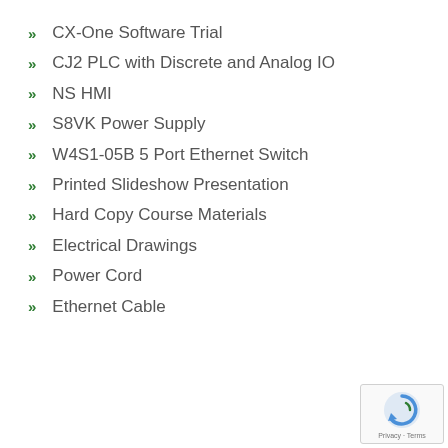CX-One Software Trial
CJ2 PLC with Discrete and Analog IO
NS HMI
S8VK Power Supply
W4S1-05B 5 Port Ethernet Switch
Printed Slideshow Presentation
Hard Copy Course Materials
Electrical Drawings
Power Cord
Ethernet Cable